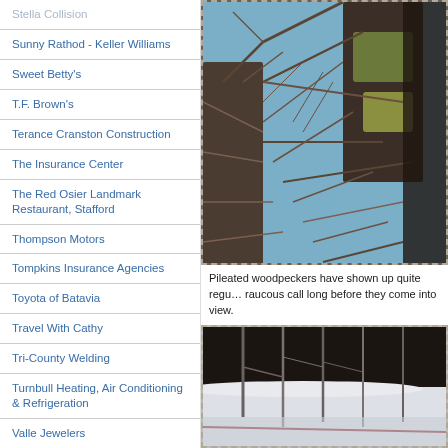Stella Collision
Sunny Rathod - Keller Williams
Sweet Betty's
T.F. Brown's
Terance Cranston Construction
The Insurance Center
The Red Osier Landmark Restaurant, Stafford
Thompson Motors
Tompkins Insurance Agencies
Toyota of Batavia
Travel With Cathy
Tri-County Welding
Turnbull Heating, Air Conditioning & Refrigeration
Valle Jewelers
Viele Construction & Development
Weed Ross Insurance Group
[Figure (photo): Close-up photo of tangled bare tree branches against a blue sky, possibly with a woodpecker or bird partially visible among the branches.]
Pileated woodpeckers have shown up quite regularly, announcing their presence with a raucous call long before they come into view.
[Figure (photo): Photo of bare tree branches in winter/snow setting with dark background, partially visible.]